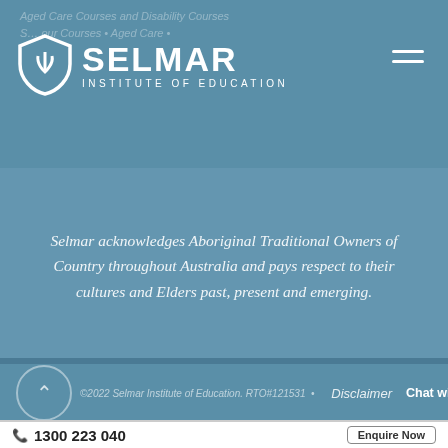Aged Care Courses and Disability Courses | Selmar Institute of Education
[Figure (logo): Selmar Institute of Education logo with shield icon and text]
Selmar acknowledges Aboriginal Traditional Owners of Country throughout Australia and pays respect to their cultures and Elders past, present and emerging.
© 2022 Selmar Institute of Education. RTO#121531 | Disclaimer | Chat with us...
1300 223 040
Enquire Now